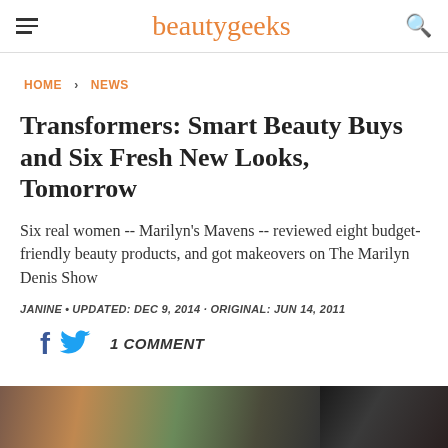beautygeeks
HOME > NEWS
Transformers: Smart Beauty Buys and Six Fresh New Looks, Tomorrow
Six real women -- Marilyn's Mavens -- reviewed eight budget-friendly beauty products, and got makeovers on The Marilyn Denis Show
JANINE • UPDATED: DEC 9, 2014 · ORIGINAL: JUN 14, 2011
1 COMMENT
[Figure (photo): Two photo thumbnails at the bottom of the page showing women's faces]